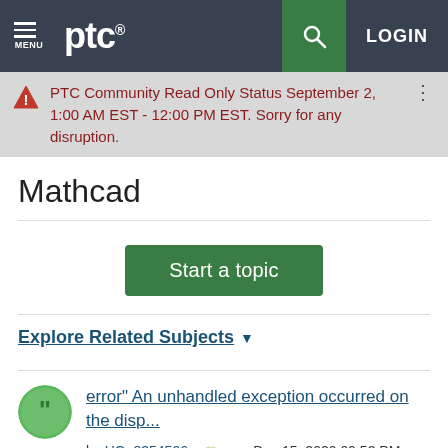MENU | ptc® | [search] LOGIN
PTC Community Read Only Status September 2, 1:00 AM EST - 12:00 PM EST. Sorry for any disruption.
Mathcad
Start a topic
Explore Related Subjects ▼
error" An unhandled exception occurred on the disp...
by HG_8354506 on Dec 15, 2020 09:52 PM · Latest post on Dec 22, 2020 06:05 PM by